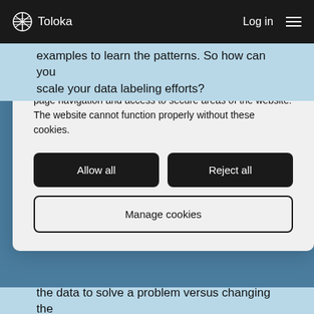Toloka  Log in
examples to learn the patterns. So how can you scale your data labeling efforts?
This website uses cookies.
Full details of these cookies are set out in our Cookies list. Strictly necessary cookies are always on because they help to make a website usable by enabling basic functions like page navigation and access to secure areas of the website. The website cannot function properly without these cookies.
Allow all
Reject all
Manage cookies
the data to solve a problem versus changing the